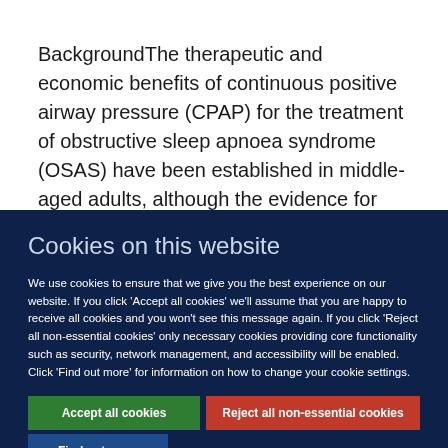BackgroundThe therapeutic and economic benefits of continuous positive airway pressure (CPAP) for the treatment of obstructive sleep apnoea syndrome (OSAS) have been established in middle-aged adults, although the evidence for...
Cookies on this website
We use cookies to ensure that we give you the best experience on our website. If you click 'Accept all cookies' we'll assume that you are happy to receive all cookies and you won't see this message again. If you click 'Reject all non-essential cookies' only necessary cookies providing core functionality such as security, network management, and accessibility will be enabled. Click 'Find out more' for information on how to change your cookie settings.